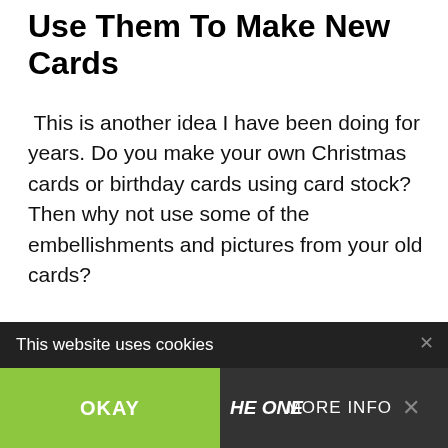Use Them To Make New Cards
This is another idea I have been doing for years. Do you make your own Christmas cards or birthday cards using card stock? Then why not use some of the embellishments and pictures from your old cards?
[Figure (photo): Image placeholder area for card-making content with slide dots and social interaction buttons (heart/like showing 5 likes, and share button)]
WHAT'S NEXT → DIY Card Bunting Fro...
This website uses cookies
OKAY
MORE INFO